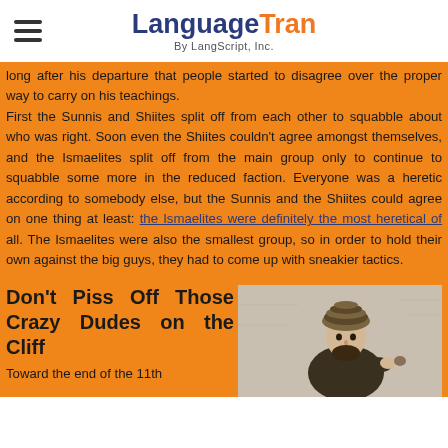LanguageTran By LangScript, Inc.
long after his departure that people started to disagree over the proper way to carry on his teachings. First the Sunnis and Shiites split off from each other to squabble about who was right. Soon even the Shiites couldn't agree amongst themselves, and the Ismaelites split off from the main group only to continue to squabble some more in the reduced faction. Everyone was a heretic according to somebody else, but the Sunnis and the Shiites could agree on one thing at least: the Ismaelites were definitely the most heretical of all. The Ismaelites were also the smallest group, so in order to hold their own against the big guys, they had to come up with sneakier tactics.
Don't Piss Off Those Crazy Dudes on the Cliff
Toward the end of the 11th
[Figure (photo): Black and white illustration of a man wearing a turban, historical Middle Eastern figure]